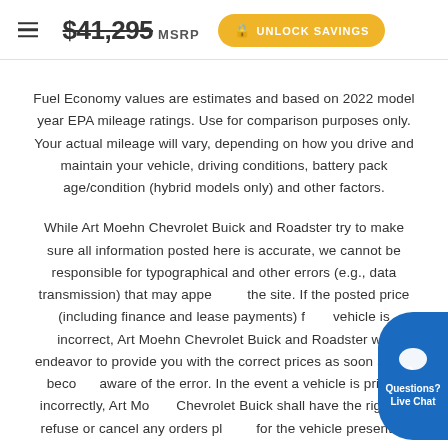$41,295 MSRP  UNLOCK SAVINGS
Fuel Economy values are estimates and based on 2022 model year EPA mileage ratings. Use for comparison purposes only. Your actual mileage will vary, depending on how you drive and maintain your vehicle, driving conditions, battery pack age/condition (hybrid models only) and other factors.
While Art Moehn Chevrolet Buick and Roadster try to make sure all information posted here is accurate, we cannot be responsible for typographical and other errors (e.g., data transmission) that may appear on the site. If the posted price (including finance and lease payments) for a vehicle is incorrect, Art Moehn Chevrolet Buick and Roadster will endeavor to provide you with the correct prices as soon as we become aware of the error. In the event a vehicle is priced incorrectly, Art Moehn Chevrolet Buick shall have the right to refuse or cancel any orders placed for the vehicle presented with the incorrect price. In addition, vehicle